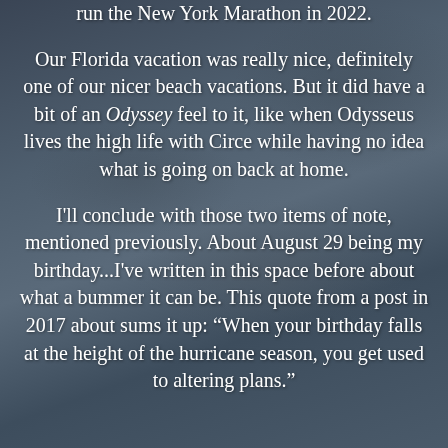run the New York Marathon in 2022.
Our Florida vacation was really nice, definitely one of our nicer beach vacations. But it did have a bit of an Odyssey feel to it, like when Odysseus lives the high life with Circe while having no idea what is going on back at home.
I'll conclude with those two items of note, mentioned previously. About August 29 being my birthday...I've written in this space before about what a bummer it can be. This quote from a post in 2017 about sums it up: “When your birthday falls at the height of the hurricane season, you get used to altering plans.”